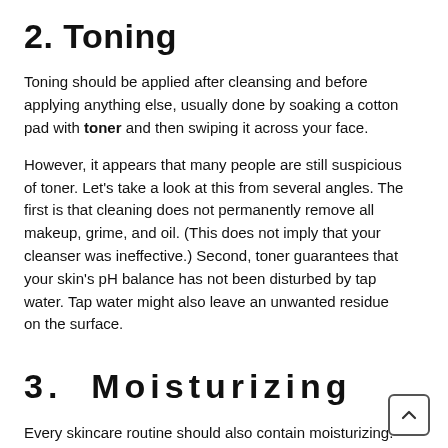2. Toning
Toning should be applied after cleansing and before applying anything else, usually done by soaking a cotton pad with toner and then swiping it across your face.
However, it appears that many people are still suspicious of toner. Let's take a look at this from several angles. The first is that cleaning does not permanently remove all makeup, grime, and oil. (This does not imply that your cleanser was ineffective.) Second, toner guarantees that your skin's pH balance has not been disturbed by tap water. Tap water might also leave an unwanted residue on the surface.
3.  Moisturizing
Every skincare routine should also contain moisturizing. It is essential ingredient you'll ever need. When your skin is dry, it's